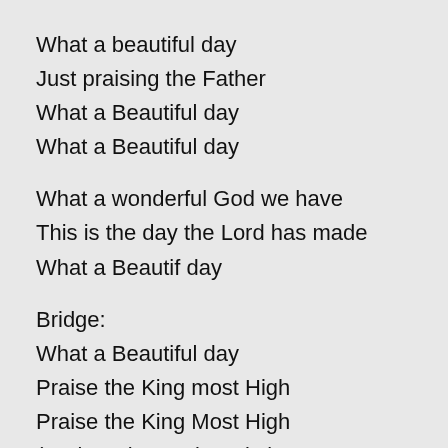What a beautiful day
Just praising the Father
What a Beautiful day
What a Beautiful day
What a wonderful God we have
This is the day the Lord has made
What a Beautif day
Bridge:
What a Beautiful day
Praise the King most High
Praise the King Most High
(Praise Him, praise Him)
God most High
Woke up this morning